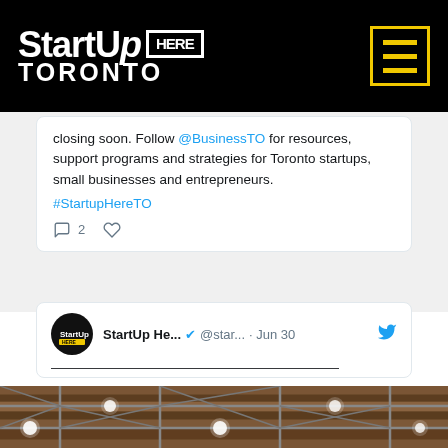StartUp HERE TORONTO
closing soon. Follow @BusinessTO for resources, support programs and strategies for Toronto startups, small businesses and entrepreneurs. #StartupHereTO
StartUp He... @star... · Jun 30
[Figure (photo): Photo of an industrial ceiling with exposed beams, metal crosswork structure, and hanging Edison-style light bulbs]